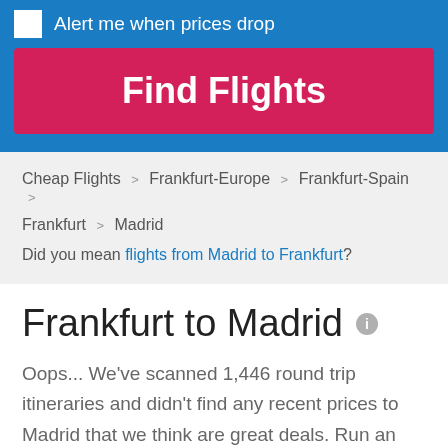Alert me when prices drop
Find Flights
Cheap Flights > Frankfurt-Europe > Frankfurt-Spain > Frankfurt > Madrid
Did you mean flights from Madrid to Frankfurt?
Frankfurt to Madrid
Oops... We've scanned 1,446 round trip itineraries and didn't find any recent prices to Madrid that we think are great deals. Run an airfare search now to update and